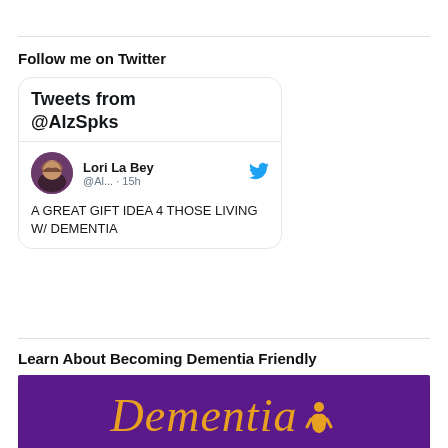Follow me on Twitter
[Figure (screenshot): Twitter widget showing 'Tweets from @AlzSpks' with a tweet from Lori La Bey (@Al... · 15h) reading 'A GREAT GIFT IDEA 4 THOSE LIVING W/ DEMENTIA']
Learn About Becoming Dementia Friendly
[Figure (logo): Purple banner with 'Dementia' in gold italic serif font with a small figure/person icon]